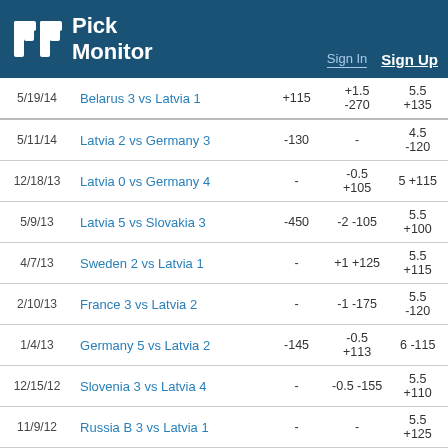Pick Monitor — Sign In | Sign Up
| Date | Match | ML | Spread | Total |
| --- | --- | --- | --- | --- |
| 5/19/14 | Belarus 3 vs Latvia 1 | +115 | +1.5 -270 | 5.5 +135 |
| 5/11/14 | Latvia 2 vs Germany 3 | -130 | - | 4.5 -120 |
| 12/18/13 | Latvia 0 vs Germany 4 | - | -0.5 +105 | 5 +115 |
| 5/9/13 | Latvia 5 vs Slovakia 3 | -450 | -2 -105 | 5.5 +100 |
| 4/7/13 | Sweden 2 vs Latvia 1 | - | +1 +125 | 5.5 +115 |
| 2/10/13 | France 3 vs Latvia 2 | - | -1 -175 | 5.5 -120 |
| 1/4/13 | Germany 5 vs Latvia 2 | -145 | -0.5 +113 | 6 -115 |
| 12/15/12 | Slovenia 3 vs Latvia 4 | - | -0.5 -155 | 5.5 +110 |
| 11/9/12 | Russia B 3 vs Latvia 1 | - | - | 5.5 +125 |